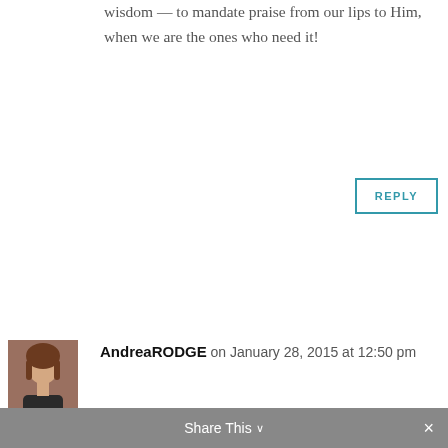wisdom — to mandate praise from our lips to Him, when we are the ones who need it!
[Figure (other): REPLY button with teal border]
[Figure (photo): Avatar photo of AndreaRODGE — woman with brown hair]
AndreaRODGE on January 28, 2015 at 12:50 pm
I love this! Worship is so fun and fulfilling. God is so good for giving us this gift
[Figure (other): REPLY button with teal border]
[Figure (other): Scroll-to-top arrow button, gray background]
[Figure (other): Avatar placeholder silhouette for seeingdeep1]
seeingdeep1 on January 30, 2015 at 6:59 pm
Amen. Thanks, Andrea! Nice to meet
Share This ∨  ×